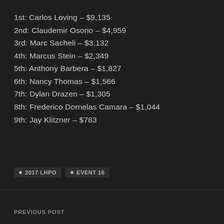1st: Carlos Loving – $9,135
2nd: Claudemir Osorio – $4,959
3rd: Marc Sacheli – $3,132
4th: Marcus Stein – $2,349
5th: Anthony Barbera – $1,827
6th: Nancy Thomas – $1,566
7th: Dylan Drazen – $1,305
8th: Frederico Dornelas Camara – $1,044
9th: Jay Klitzner – $783
• 2017 LHPO  • EVENT 16
PREVIOUS POST